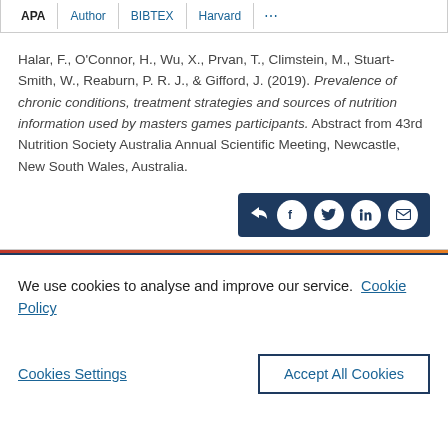APA | Author | BIBTEX | Harvard | ...
Halar, F., O'Connor, H., Wu, X., Prvan, T., Climstein, M., Stuart-Smith, W., Reaburn, P. R. J., & Gifford, J. (2019). Prevalence of chronic conditions, treatment strategies and sources of nutrition information used by masters games participants. Abstract from 43rd Nutrition Society Australia Annual Scientific Meeting, Newcastle, New South Wales, Australia.
[Figure (other): Share bar with icons for share, Facebook, Twitter, LinkedIn, and email on a dark navy background]
We use cookies to analyse and improve our service. Cookie Policy
Cookies Settings     Accept All Cookies